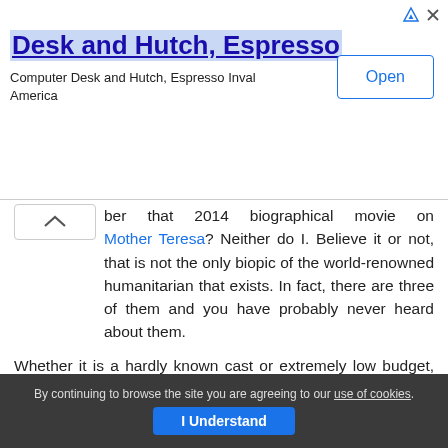[Figure (other): Advertisement banner for 'Desk and Hutch, Espresso' with a blue underlined title, subtitle 'Computer Desk and Hutch, Espresso Inval America', and an 'Open' button]
ber that 2014 biographical movie on Mother Teresa? Neither do I. Believe it or not, that is not the only biopic of the world-renowned humanitarian that exists. In fact, there are three of them and you have probably never heard about them.
Whether it is a hardly known cast or extremely low budget, the independent movies based on the life of Mother Teresa have received nothing but mixed to negative reviews creating chances of a proper biopic that beautifully represents the life of the saint that was Mother Teresa.
1. Albert Einstein
By continuing to browse the site you are agreeing to our use of cookies. I Understand